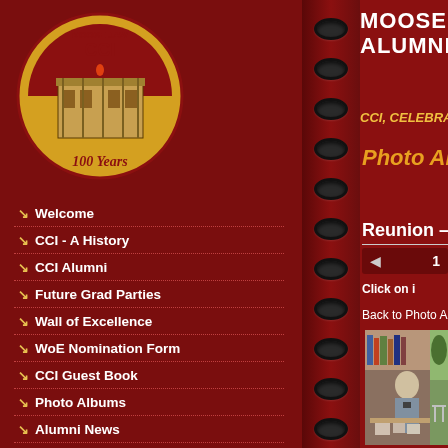[Figure (logo): Moose Jaw CCI 100 Years circular logo with school building illustration, gold and red colors]
MOOSE JAW CENTRAL ALUMNI WEB CCI, CELEBRATING 10
Photo Albums
Reunion -
Welcome
CCI - A History
CCI Alumni
Future Grad Parties
Wall of Excellence
WoE Nomination Form
CCI Guest Book
Photo Albums
Alumni News
Endowment News
Message Forums
CCI Grad Photos
Contact Us
1
Click on i
Back to Photo Albums
[Figure (photo): Elderly man leaning over a table looking at old photographs and memorabilia in what appears to be a library]
[Figure (photo): Partial view of another photo showing outdoor scene with trees and chairs]